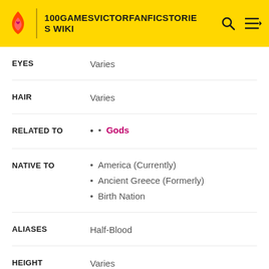100GAMESVICTORFANFICSTORIES WIKI
| Label | Value |
| --- | --- |
| EYES | Varies |
| HAIR | Varies |
| RELATED TO | Gods |
| NATIVE TO | America (Currently)
Ancient Greece (Formerly)
Birth Nation |
| ALIASES | Half-Blood |
| HEIGHT | Varies |
| MORTALITY | Mortal |